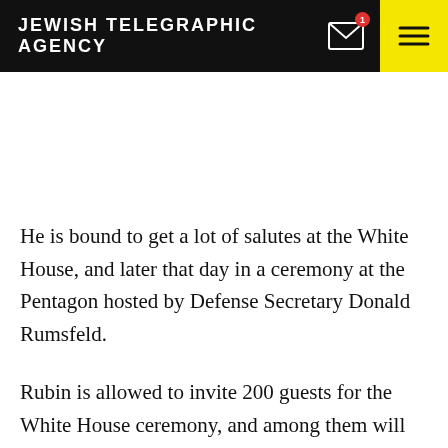JEWISH TELEGRAPHIC AGENCY
He is bound to get a lot of salutes at the White House, and later that day in a ceremony at the Pentagon hosted by Defense Secretary Donald Rumsfeld.
Rubin is allowed to invite 200 guests for the White House ceremony, and among them will be the survivors of his old company and their families. There also will be relatives, but Rubin doubts that his cousins in Israel will be able to make it.